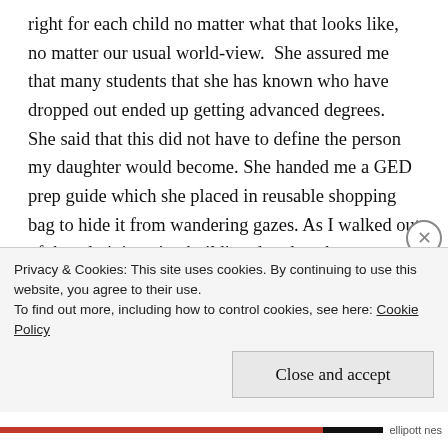right for each child no matter what that looks like, no matter our usual world-view.  She assured me that many students that she has known who have dropped out ended up getting advanced degrees.  She said that this did not have to define the person my daughter would become. She handed me a GED prep guide which she placed in reusable shopping bag to hide it from wandering gazes. As I walked out of the administration building that day, the parent of a high school dropout, it occurred to me that our family, a family no one would suspect of bringing down the school's graduation rate or state rankings, had just
Privacy & Cookies: This site uses cookies. By continuing to use this website, you agree to their use.
To find out more, including how to control cookies, see here: Cookie Policy
Close and accept